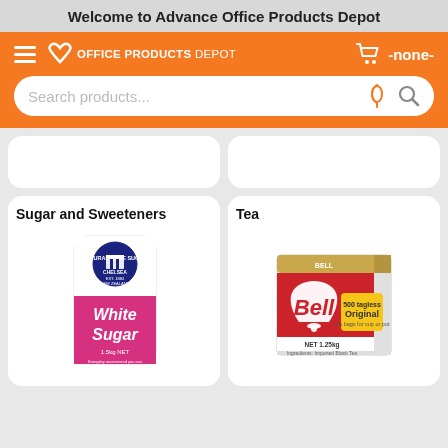Welcome to Advance Office Products Depot
[Figure (screenshot): Orange navigation bar with hamburger menu, Office Products Depot logo, and cart icon showing -none-]
[Figure (screenshot): Search bar with placeholder text 'Search products...' and microphone and search icons]
Sugar and Sweeteners
Tea
[Figure (photo): Chelsea White Sugar 1.5kg NET bag - white bag with pink/magenta lower half, Chelsea logo with building graphic]
[Figure (photo): Bell 500 tagless Original tea bags box NET 1.25kg - red and white box with Bell logo and bell icon]